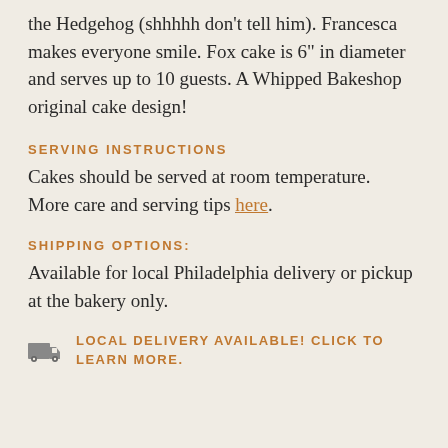the Hedgehog (shhhhh don't tell him). Francesca makes everyone smile. Fox cake is 6" in diameter and serves up to 10 guests. A Whipped Bakeshop original cake design!
SERVING INSTRUCTIONS
Cakes should be served at room temperature.  More care and serving tips here.
SHIPPING OPTIONS:
Available for local Philadelphia delivery or pickup at the bakery only.
LOCAL DELIVERY AVAILABLE! CLICK TO LEARN MORE.